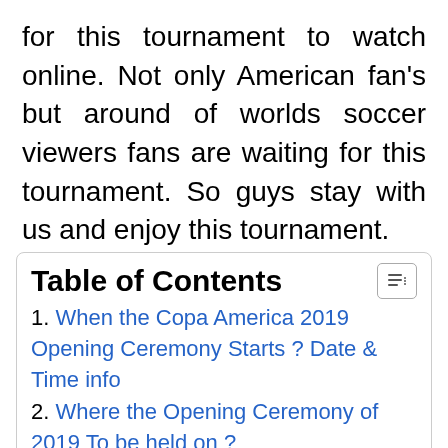for this tournament to watch online. Not only American fan's but around of worlds soccer viewers fans are waiting for this tournament. So guys stay with us and enjoy this tournament.
1. When the Copa America 2019 Opening Ceremony Starts ? Date & Time info
2. Where the Opening Ceremony of 2019 To be held on ?